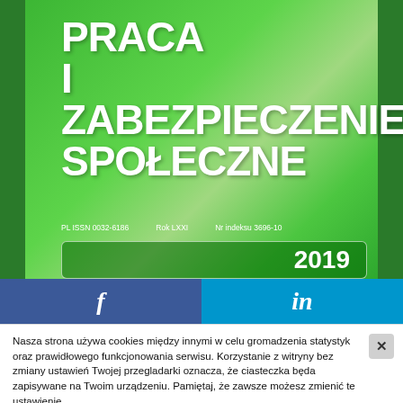[Figure (illustration): Cover of Polish journal 'Praca i Zabezpieczenie Społeczne' on green background with year 2019 and ISSN/metadata line]
PRACA I ZABEZPIECZENIE SPOŁECZNE
PL ISSN 0032-6186   Rok LXXI   Nr indeksu 3696-10
2019
[Figure (other): Social media bar with Facebook (blue) and LinkedIn (light blue) icons]
Nasza strona używa cookies między innymi w celu gromadzenia statystyk oraz prawidłowego funkcjonowania serwisu. Korzystanie z witryny bez zmiany ustawień Twojej przegladarki oznacza, że ciasteczka będa zapisywane na Twoim urządzeniu. Pamiętaj, że zawsze możesz zmienić te ustawienie.